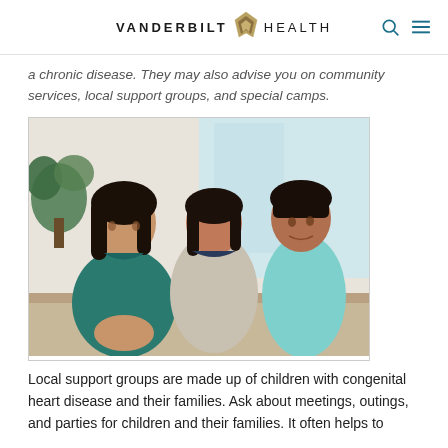VANDERBILT HEALTH
a chronic disease. They may also advise you on community services, local support groups, and special camps.
[Figure (photo): A male healthcare provider in teal scrubs sitting and talking with a mother and her young son in a clinical setting]
Local support groups are made up of children with congenital heart disease and their families. Ask about meetings, outings, and parties for children and their families. It often helps to